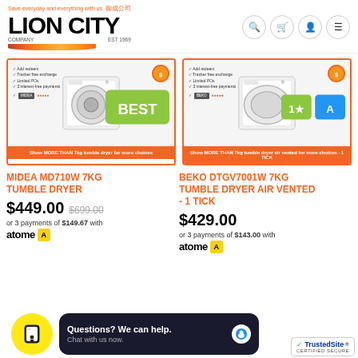[Figure (logo): Lion City Company logo with tagline and flame graphic]
[Figure (screenshot): Product card for Midea MD710W 7KG Tumble Dryer with orange border]
[Figure (screenshot): Product card for Beko DTGV7001W 7KG Tumble Dryer Air Vented with orange border]
MIDEA MD710W 7KG TUMBLE DRYER
$449.00 $699.00
or 3 payments of $149.67 with atome
BEKO DTGV7001W 7KG TUMBLE DRYER AIR VENTED - 1 TICK
$429.00
or 3 payments of $143.00 with atome
[Figure (infographic): Yellow circle chat widget with shopping bag icon]
Questions? We can help. Chat with us now.
[Figure (logo): TrustedSite Certified Secure badge]